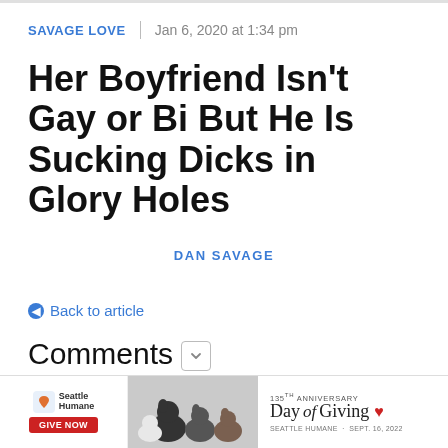SAVAGE LOVE  |  Jan 6, 2020 at 1:34 pm
Her Boyfriend Isn't Gay or Bi But He Is Sucking Dicks in Glory Holes
DAN SAVAGE
← Back to article
Comments
[Figure (other): Seattle Humane 135th Anniversary Day of Giving advertisement banner with dogs and Give Now button]